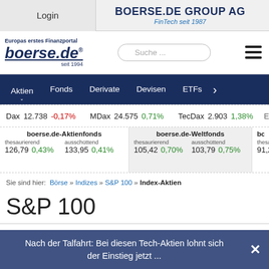Login | BOERSE.DE GROUP AG | FinTech seit 1987
[Figure (logo): boerse.de logo with tagline 'Europas erstes Finanzportal' and 'seit 1994']
Dax 12.738 -0,17% | MDax 24.575 0,71% | TecDax 2.903 1,38%
boerse.de-Aktienfonds | thesaurierend 126,79 0,43% | ausschüttend 133,95 0,41% | boerse.de-Weltfonds | thesaurierend 105,42 0,70% | ausschüttend 103,79 0,75% | boerse.de... thesaurierend 91,21
Sie sind hier: Börse » Indizes » S&P 100 » Index-Aktien
S&P 100
Nach der Talfahrt: Bei diesen Tech-Aktien lohnt sich der Einstieg jetzt ...